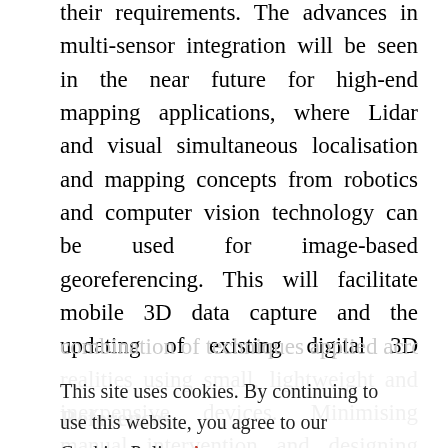their requirements. The advances in multi-sensor integration will be seen in the near future for high-end mapping applications, where Lidar and visual simultaneous localisation and mapping concepts from robotics and computer vision technology can be used for image-based georeferencing. This will facilitate mobile 3D data capture and the updating of existing digital 3D realities using small, lightweight and inexpensive devices. Minimising manual intervention and designing automatic feature extraction techniques for 3D point clouds of complex corridor scenes is an important need. It will be interesting to see the
This site uses cookies. By continuing to use this website, you agree to our Cookies Policy. Agree
References